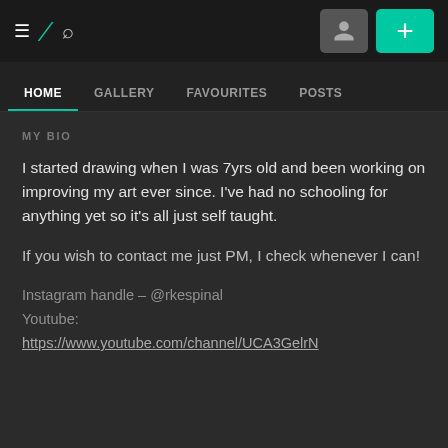DeviantArt navigation bar with hamburger menu, DA logo, search icon, user icon button, and plus button
HOME | GALLERY | FAVOURITES | POSTS
MY BIO
I started drawing when I was 7yrs old and been working on improving my art ever since. I've had no schooling for anything yet so it's all just self taught.
If you wish to contact me just PM, I check whenever I can!
Instagram handle – @rkespinal
Youtube:
https://www.youtube.com/channel/UCA3GelrN